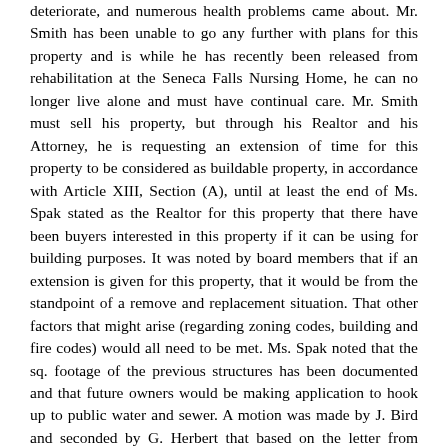deteriorate, and numerous health problems came about. Mr. Smith has been unable to go any further with plans for this property and is while he has recently been released from rehabilitation at the Seneca Falls Nursing Home, he can no longer live alone and must have continual care. Mr. Smith must sell his property, but through his Realtor and his Attorney, he is requesting an extension of time for this property to be considered as buildable property, in accordance with Article XIII, Section (A), until at least the end of Ms. Spak stated as the Realtor for this property that there have been buyers interested in this property if it can be using for building purposes. It was noted by board members that if an extension is given for this property, that it would be from the standpoint of a remove and replacement situation. That other factors that might arise (regarding zoning codes, building and fire codes) would all need to be met. Ms. Spak noted that the sq. footage of the previous structures has been documented and that future owners would be making application to hook up to public water and sewer. A motion was made by J. Bird and seconded by G. Herbert that based on the letter from Attorney Mark Venuti, with additional input from Realtor Sandy Spak, representing Mr. Smith, showing just